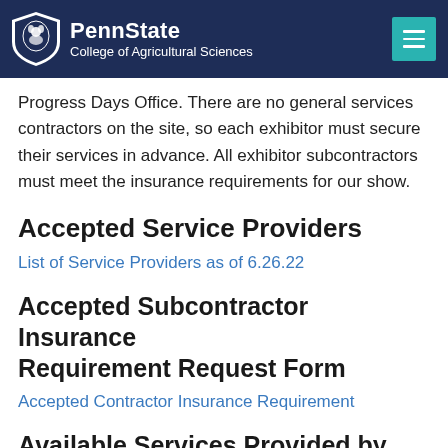PennState College of Agricultural Sciences
Progress Days Office. There are no general services contractors on the site, so each exhibitor must secure their services in advance. All exhibitor subcontractors must meet the insurance requirements for our show.
Accepted Service Providers
List of Service Providers as of 6.26.22
Accepted Subcontractor Insurance Requirement Request Form
Accepted Contractor Insurance Requirement
Available Services Provided by the Facility